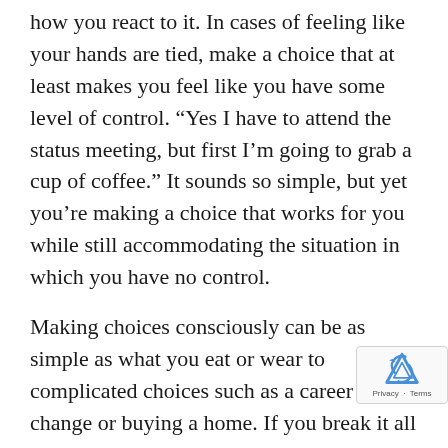how you react to it. In cases of feeling like your hands are tied, make a choice that at least makes you feel like you have some level of control. “Yes I have to attend the status meeting, but first I’m going to grab a cup of coffee.” It sounds so simple, but yet you’re making a choice that works for you while still accommodating the situation in which you have no control.
Making choices consciously can be as simple as what you eat or wear to complicated choices such as a career change or buying a home. If you break it all down, most choices really are within your control. It’s how you exercise all that power that can make the difference in how you get through each da… Isn’t it time for a shift in power? Choose it!
– Rose Cook, FlexPro CEO